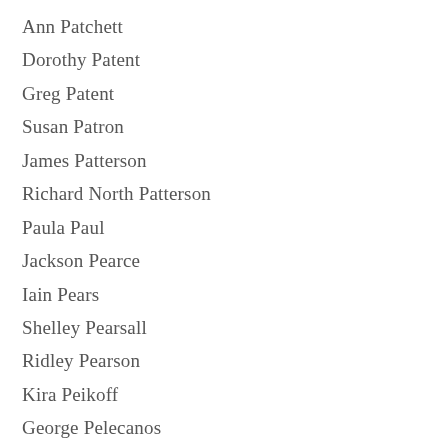Ann Patchett
Dorothy Patent
Greg Patent
Susan Patron
James Patterson
Richard North Patterson
Paula Paul
Jackson Pearce
Iain Pears
Shelley Pearsall
Ridley Pearson
Kira Peikoff
George Pelecanos
Sharon Kay Penman